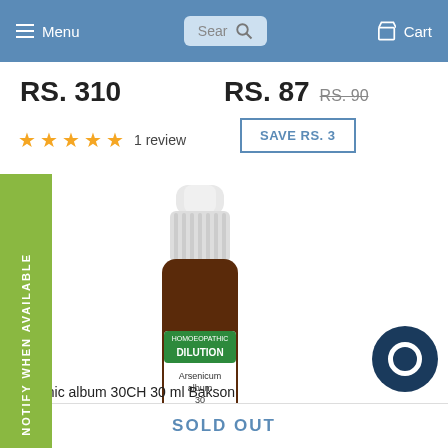Menu  Search  Cart
RS. 310
RS. 87  RS. 90
★★★★★ 1 review
SAVE RS. 3
[Figure (photo): Bottle of Bakson's Homoeopathic Dilution - Arsenicum album 30, a brown glass dropper bottle with white cap and green label reading HOMOEOPATHIC DILUTION]
Arsenic album 30CH 30 ml Bakson
NOTIFY WHEN AVAILABLE
SOLD OUT